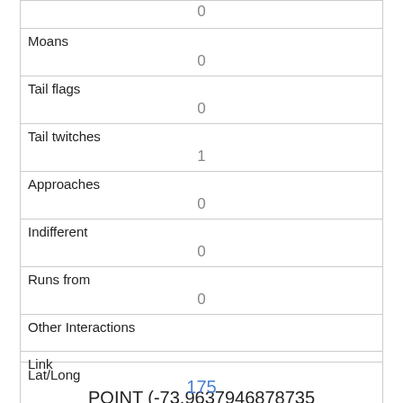| 0 |
| Moans | 0 |
| Tail flags | 0 |
| Tail twitches | 1 |
| Approaches | 0 |
| Indifferent | 0 |
| Runs from | 0 |
| Other Interactions |  |
| Lat/Long | POINT (-73.9637946878735 40.7915700446878) |
| Link | 175 |